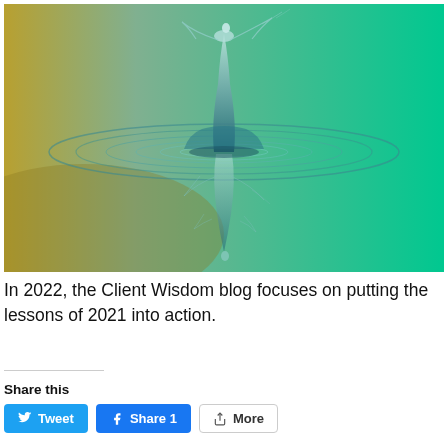[Figure (photo): High-speed macro photograph of a water droplet splash creating a crown/pillar shape with ripple rings on a reflective surface, with a yellow-to-teal green gradient background. The splash is reflected below the water surface.]
In 2022, the Client Wisdom blog focuses on putting the lessons of 2021 into action.
Share this